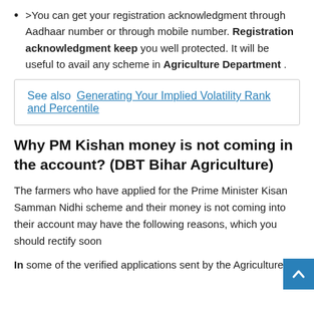>You can get your registration acknowledgment through Aadhaar number or through mobile number. Registration acknowledgment keep you well protected. It will be useful to avail any scheme in Agriculture Department .
See also  Generating Your Implied Volatility Rank and Percentile
Why PM Kishan money is not coming in the account? (DBT Bihar Agriculture)
The farmers who have applied for the Prime Minister Kisan Samman Nidhi scheme and their money is not coming into their account may have the following reasons, which you should rectify soon
In some of the verified applications sent by the Agriculture